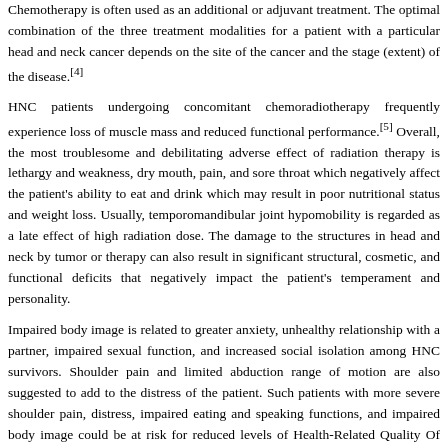Chemotherapy is often used as an additional or adjuvant treatment. The optimal combination of the three treatment modalities for a patient with a particular head and neck cancer depends on the site of the cancer and the stage (extent) of the disease.[4]
HNC patients undergoing concomitant chemoradiotherapy frequently experience loss of muscle mass and reduced functional performance.[5] Overall, the most troublesome and debilitating adverse effect of radiation therapy is lethargy and weakness, dry mouth, pain, and sore throat which negatively affect the patient's ability to eat and drink which may result in poor nutritional status and weight loss. Usually, temporomandibular joint hypomobility is regarded as a late effect of high radiation dose. The damage to the structures in head and neck by tumor or therapy can also result in significant structural, cosmetic, and functional deficits that negatively impact the patient's temperament and personality.
Impaired body image is related to greater anxiety, unhealthy relationship with a partner, impaired sexual function, and increased social isolation among HNC survivors. Shoulder pain and limited abduction range of motion are also suggested to add to the distress of the patient. Such patients with more severe shoulder pain, distress, impaired eating and speaking functions, and impaired body image could be at risk for reduced levels of Health-Related Quality Of Life (HRQOL). HRQOL is